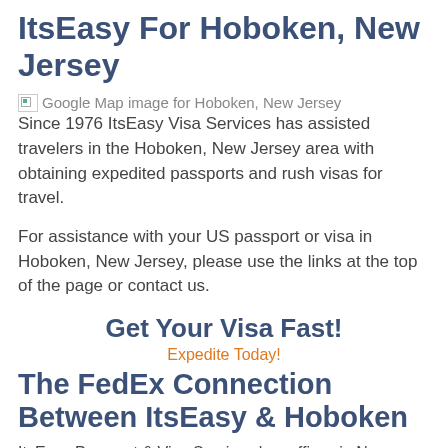ItsEasy For Hoboken, New Jersey
[Figure (other): Broken image placeholder for Google Map image for Hoboken, New Jersey]
Since 1976 ItsEasy Visa Services has assisted travelers in the Hoboken, New Jersey area with obtaining expedited passports and rush visas for travel.
For assistance with your US passport or visa in Hoboken, New Jersey, please use the links at the top of the page or contact us.
Get Your Visa Fast!
Expedite Today!
The FedEx Connection Between ItsEasy & Hoboken
ItsEasy Passport & Visa Services has offices in New